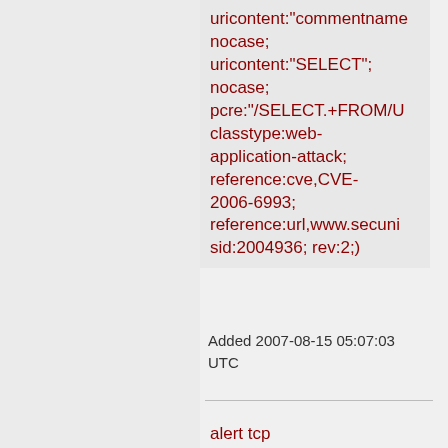uricontent:"commentname
nocase;
uricontent:"SELECT";
nocase;
pcre:"/SELECT.+FROM/U
classtype:web-application-attack;
reference:cve,CVE-2006-6993;
reference:url,www.secuni
sid:2004936; rev:2;)
Added 2007-08-15 05:07:03 UTC
alert tcp $EXTERNAL_NET any -> $HTTP_SERVERS $HTTP_PORTS